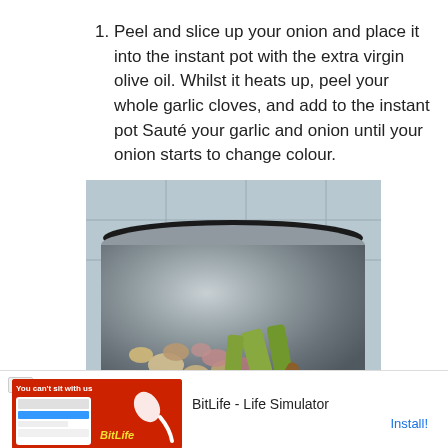Peel and slice up your onion and place it into the instant pot with the extra virgin olive oil. Whilst it heats up, peel your whole garlic cloves, and add to the instant pot Sauté your garlic and onion until your onion starts to change colour.
[Figure (photo): A metal instant pot/saucepan seen from above containing sliced onions, garlic cloves, and green vegetables being sautéed with a wooden spoon, on a tiled background.]
[Figure (screenshot): Advertisement banner for BitLife - Life Simulator app, showing red background with game imagery, Ad label, and Install button.]